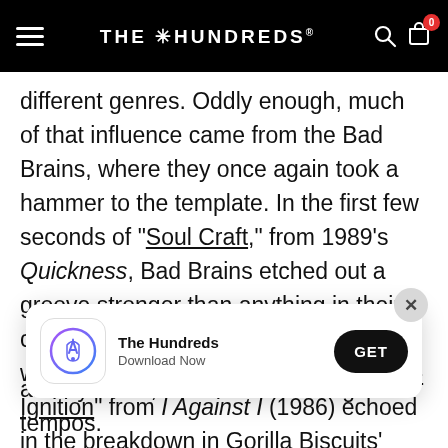THE HUNDREDS
different genres. Oddly enough, much of that influence came from the Bad Brains, where they once again took a hammer to the template. In the first few seconds of “Soul Craft,” from 1989’s Quickness, Bad Brains etched out a groove stronger than anything in their canon. While they had experimented with slower tempos, specifically on “Re-Ignition” from I Against I (1986) echoed in the breakdown in Gorilla Biscuits’ “Start Today,” Mackie Jayson’s uncredited drumming adds an NYC
[Figure (screenshot): App install popup for The Hundreds app with icon, title, Download Now subtitle, and GET button]
and dynamic, without contrasting the tempos.